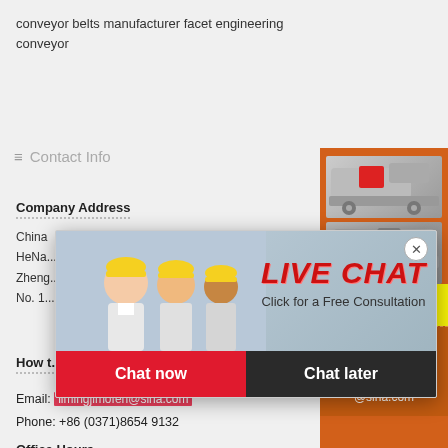conveyor belts manufacturer facet engineering conveyor
Contact Info
Company Address
China
HeNa...
Zheng...
No. 1...
How to contact
Email: limingjlmofen@sina.com
Phone: +86 (0371)8654 9132
Office Hours
24 hours at your service
[Figure (screenshot): Live chat popup overlay with workers in hard hats, 'LIVE CHAT' text in red italic, 'Click for a Free Consultation', Chat now and Chat later buttons]
[Figure (screenshot): Orange sidebar with mining/crushing machinery images, yellow 'Enjoy 3% discount' bar, 'Click to Chat' bar, 'Enquiry' section, limingjlmofen@sina.com email]